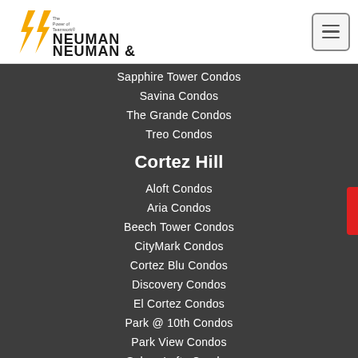[Figure (logo): Neuman Neuman & logo with lightning bolt and 'The Power of Teamwork' tagline]
Sapphire Tower Condos
Savina Condos
The Grande Condos
Treo Condos
Cortez Hill
Aloft Condos
Aria Condos
Beech Tower Condos
CityMark Condos
Cortez Blu Condos
Discovery Condos
El Cortez Condos
Park @ 10th Condos
Park View Condos
Solara Lofts Condos